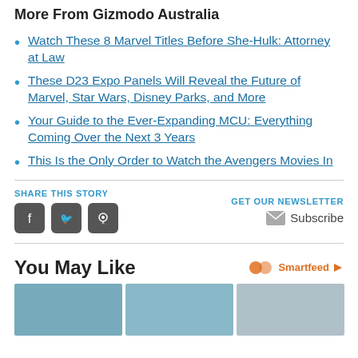More From Gizmodo Australia
Watch These 8 Marvel Titles Before She-Hulk: Attorney at Law
These D23 Expo Panels Will Reveal the Future of Marvel, Star Wars, Disney Parks, and More
Your Guide to the Ever-Expanding MCU: Everything Coming Over the Next 3 Years
This Is the Only Order to Watch the Avengers Movies In
SHARE THIS STORY
[Figure (other): Social share buttons: Facebook, Twitter, Reddit icons]
GET OUR NEWSLETTER
Subscribe
You May Like
[Figure (other): Smartfeed logo and icon]
[Figure (photo): Three thumbnail images in a row at the bottom of the page]